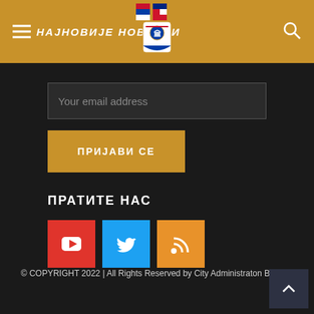НАЈНОВИЈЕ НОВОСТИ
[Figure (logo): City coat of arms logo with Serbian flag]
Your email address
ПРИЈАВИ СЕ
ПРАТИТЕ НАС
[Figure (infographic): Social media icons: YouTube (red), Twitter (blue), RSS (orange)]
© COPYRIGHT 2022 | All Rights Reserved by City Administraton Bijeljina